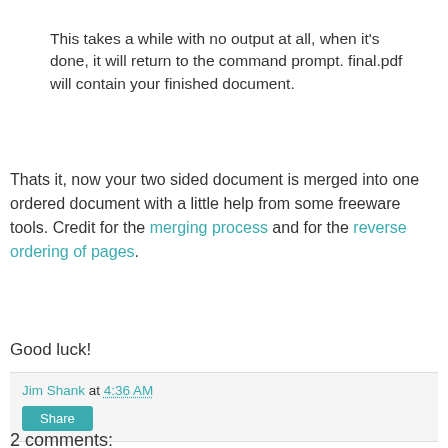This takes a while with no output at all, when it's done, it will return to the command prompt. final.pdf will contain your finished document.
Thats it, now your two sided document is merged into one ordered document with a little help from some freeware tools. Credit for the merging process and for the reverse ordering of pages.
Good luck!
Jim Shank at 4:36 AM
Share
2 comments: